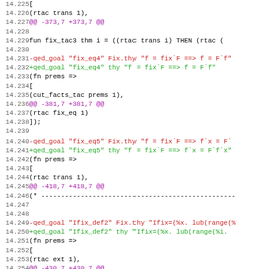Code diff showing changes to fix_tac and qed_goal definitions in a formal proof system, lines 14.225 to 14.256